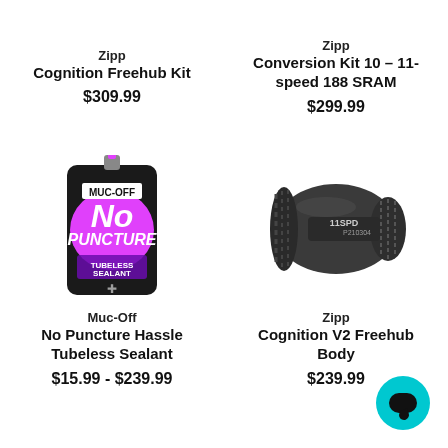Zipp
Cognition Freehub Kit
$309.99
Zipp
Conversion Kit 10 – 11-speed 188 SRAM
$299.99
[Figure (photo): Muc-Off No Puncture Hassle Tubeless Sealant pouch, black with pink label]
Muc-Off
No Puncture Hassle Tubeless Sealant
$15.99 - $239.99
[Figure (photo): Zipp Cognition V2 Freehub Body, dark grey cylindrical component with 11SPD label]
Zipp
Cognition V2 Freehub Body
$239.99